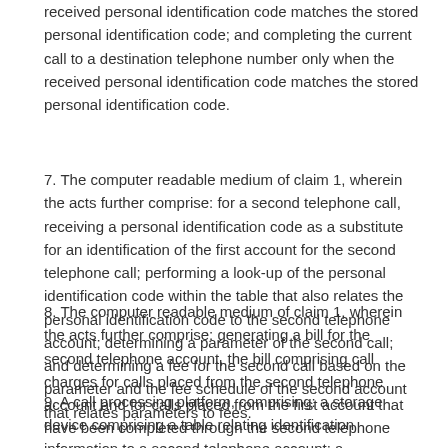received personal identification code matches the stored personal identification code; and completing the current call to a destination telephone number only when the received personal identification code matches the stored personal identification code.
7. The computer readable medium of claim 1, wherein the acts further comprise: for a second telephone call, receiving a personal identification code as a substitute for an identification of the first account for the second telephone call; performing a look-up of the personal identification code within the table that also relates the personal identification code to the second telephone account; determining a parameter of the second call; and determining a fee for the second call based on the parameter and the fee schedule of the second account that relates parameters to fees.
8. The computer readable medium of claim 1, wherein the acts further comprise: generating a bill for the second telephone account, the bill comprising call charges for calls placed from the second telephone account and for calls placed from the first account that have been completed through the second telephone account.
9. A call processing platform, comprising: a storage device comprising a table relating identification information to a second telephone account; a processing system that receives identification information from an incoming